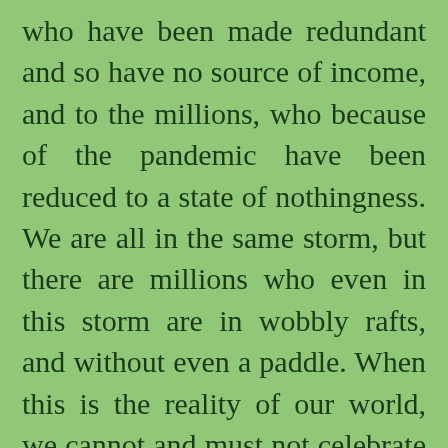who have been made redundant and so have no source of income, and to the millions, who because of the pandemic have been reduced to a state of nothingness. We are all in the same storm, but there are millions who even in this storm are in wobbly rafts, and without even a paddle. When this is the reality of our world, we cannot and must not celebrate as we usually did. Our external celebrations must be muted, muffled and hushed much like the millions of the poor, the marginalized and the downtrodden.